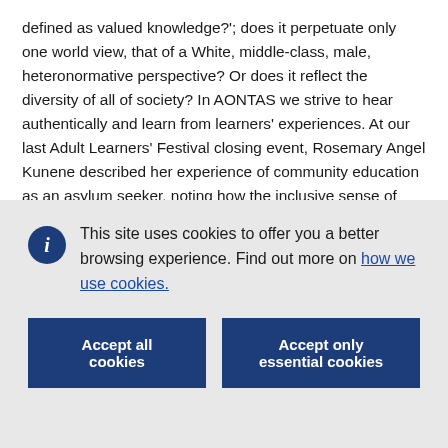defined as valued knowledge?'; does it perpetuate only one world view, that of a White, middle-class, male, heteronormative perspective? Or does it reflect the diversity of all of society? In AONTAS we strive to hear authentically and learn from learners' experiences. At our last Adult Learners' Festival closing event, Rosemary Angel Kunene described her experience of community education as an asylum seeker, noting how the inclusive sense of belonging and support in community education facilitated deep personal growth. The same event also highlighted the role of community education
This site uses cookies to offer you a better browsing experience. Find out more on how we use cookies.
Accept all cookies
Accept only essential cookies